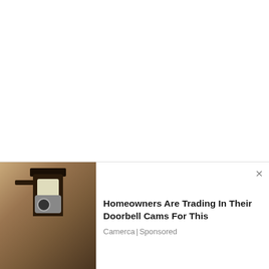| Full Name |  |
| --- | --- |
| Full Name | Oprah Gail Winfrey |
[Figure (photo): Advertisement showing an outdoor wall lamp with a security camera attached, set against a stone wall background]
Homeowners Are Trading In Their Doorbell Cams For This
Camerca | Sponsored